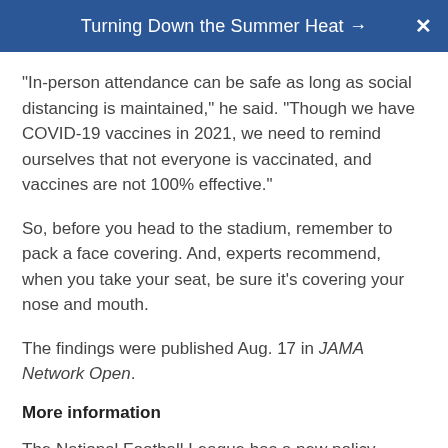Turning Down the Summer Heat →
"In-person attendance can be safe as long as social distancing is maintained," he said. "Though we have COVID-19 vaccines in 2021, we need to remind ourselves that not everyone is vaccinated, and vaccines are not 100% effective."
So, before you head to the stadium, remember to pack a face covering. And, experts recommend, when you take your seat, be sure it's covering your nose and mouth.
The findings were published Aug. 17 in JAMA Network Open.
More information
The National Football League has a new policy